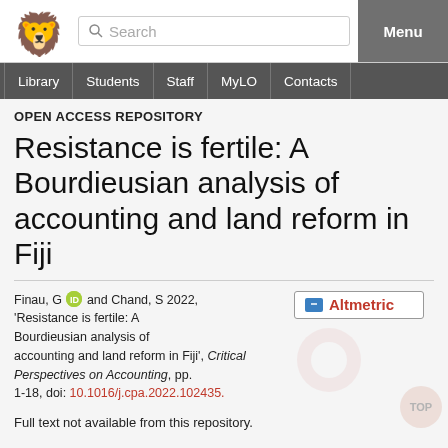Search | Menu | Library | Students | Staff | MyLO | Contacts
OPEN ACCESS REPOSITORY
Resistance is fertile: A Bourdieusian analysis of accounting and land reform in Fiji
Finau, G and Chand, S 2022, 'Resistance is fertile: A Bourdieusian analysis of accounting and land reform in Fiji', Critical Perspectives on Accounting, pp. 1-18, doi: 10.1016/j.cpa.2022.102435.
Full text not available from this repository.